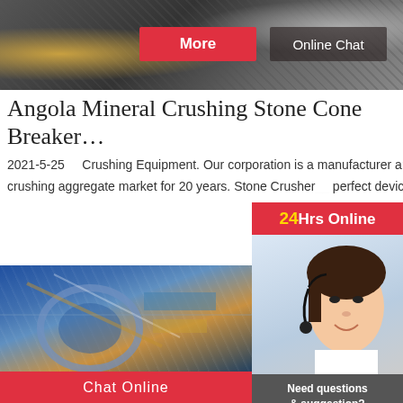[Figure (photo): Industrial crushing/mining equipment scene with More and Online Chat buttons overlay]
Angola Mineral Crushing Stone Cone Breaker…
2021-5-25    Crushing Equipment. Our corporation is a manufacturer and exporter of your crushers, serving the crushing aggregate market for 20 years. Stone Crusher… perfect device for major and secondary crush…
[Figure (infographic): 24Hrs Online banner with customer service agent photo and Need questions & suggestion? Chat Now panel]
[Figure (photo): Industrial machinery/mining equipment close-up photo]
Chat Online
Enquire